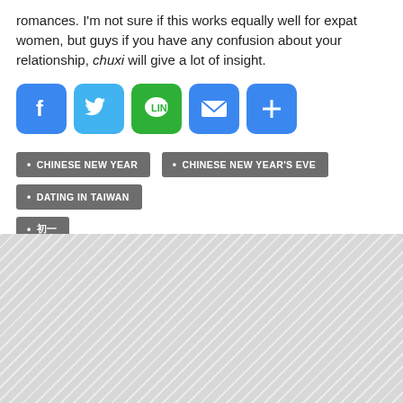romances. I'm not sure if this works equally well for expat women, but guys if you have any confusion about your relationship, chuxi will give a lot of insight.
[Figure (infographic): Social sharing buttons: Facebook (blue), Twitter (blue), LINE (green), Email (blue), More/Share (blue)]
CHINESE NEW YEAR
CHINESE NEW YEAR'S EVE
DATING IN TAIWAN
初一 (tag icon)
[Figure (other): Diagonal striped grey background area (advertisement or placeholder)]